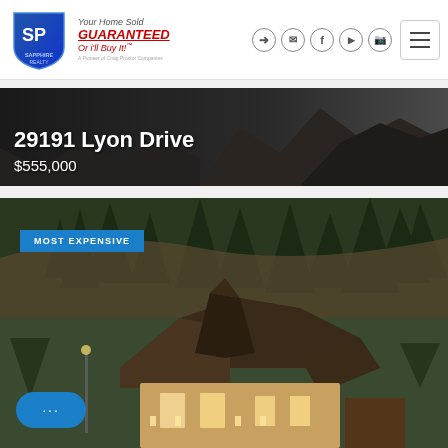[Figure (logo): Sapphire Realty logo — blue shield with 'SR' letters and text 'Sapphire Realty' below]
Your Home Sold GUARANTEED Or i'll Buy It!™
29191 Lyon Drive
$555,000
[Figure (photo): Aerial/elevated view of a large luxury home with steep dark roof surrounded by pine trees and rocky hillside. Badge reading 'MOST EXPENSIVE' overlaid in blue. Chat bubble widget visible at bottom left.]